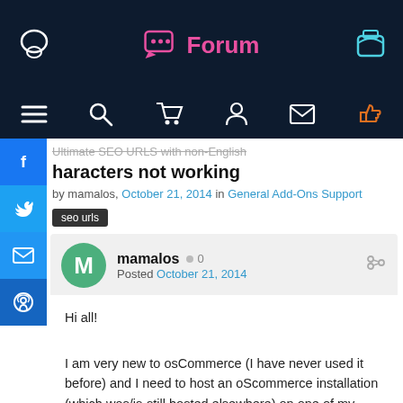Forum
haracters not working
by mamalos, October 21, 2014 in General Add-Ons Support
seo urls
mamalos  0
Posted October 21, 2014
Hi all!
I am very new to osCommerce (I have never used it before) and I need to host an oScommerce installation (which was/is-still hosted elsewhere) on one of my vps'.